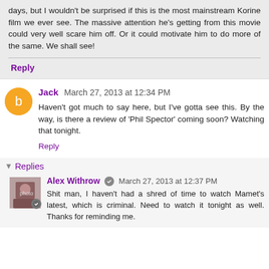days, but I wouldn't be surprised if this is the most mainstream Korine film we ever see. The massive attention he's getting from this movie could very well scare him off. Or it could motivate him to do more of the same. We shall see!
Reply
Jack  March 27, 2013 at 12:34 PM
Haven't got much to say here, but I've gotta see this. By the way, is there a review of 'Phil Spector' coming soon? Watching that tonight.
Reply
Replies
Alex Withrow  March 27, 2013 at 12:37 PM
Shit man, I haven't had a shred of time to watch Mamet's latest, which is criminal. Need to watch it tonight as well. Thanks for reminding me.